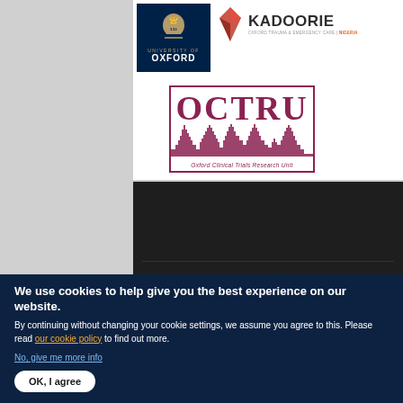[Figure (logo): University of Oxford logo — dark blue box with Oxford crest and text]
[Figure (logo): Kadoorie Oxford Trauma and Emergency Care logo with red/grey gem icon and text]
[Figure (logo): OCTRU (Oxford Clinical Trials Research Unit) logo — maroon text with Oxford skyline silhouette in a bordered box]
[Figure (screenshot): Dark section of webpage showing navigation/content area with dark background]
We use cookies to help give you the best experience on our website.
By continuing without changing your cookie settings, we assume you agree to this. Please read our cookie policy to find out more.
No, give me more info
OK, I agree